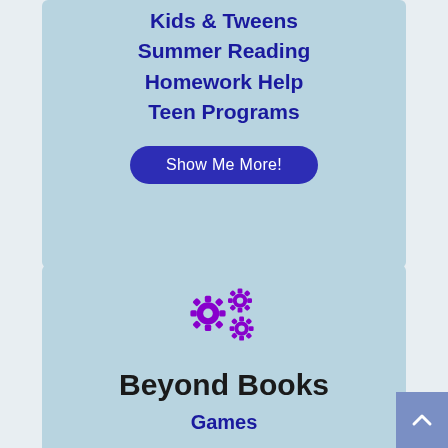Kids & Tweens
Summer Reading
Homework Help
Teen Programs
[Figure (other): Button labeled Show Me More! with dark blue rounded rectangle background]
[Figure (illustration): Two purple gear/cog icons]
Beyond Books
Games